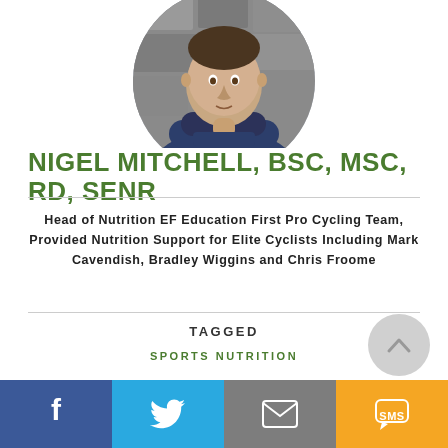[Figure (photo): Circular cropped portrait photo of Nigel Mitchell, a man in a dark navy blue sweater with arms crossed, standing against a stone/brick wall background]
NIGEL MITCHELL, BSC, MSC, RD, SENR
Head of Nutrition EF Education First Pro Cycling Team, Provided Nutrition Support for Elite Cyclists Including Mark Cavendish, Bradley Wiggins and Chris Froome
TAGGED
SPORTS NUTRITION
[Figure (other): Social share bar with four buttons: Facebook (blue), Twitter (light blue), Email (grey), SMS (yellow/orange)]